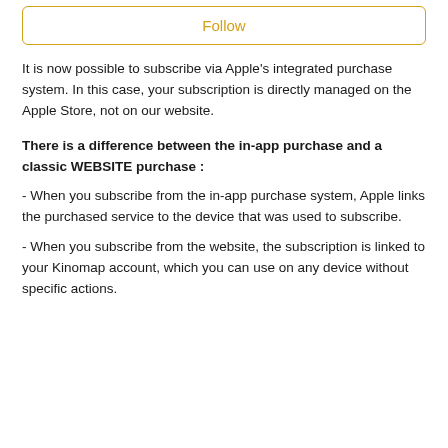Follow
It is now possible to subscribe via Apple's integrated purchase system. In this case, your subscription is directly managed on the Apple Store, not on our website.
There is a difference between the in-app purchase and a classic WEBSITE purchase :
- When you subscribe from the in-app purchase system, Apple links the purchased service to the device that was used to subscribe.
- When you subscribe from the website, the subscription is linked to your Kinomap account, which you can use on any device without specific actions.